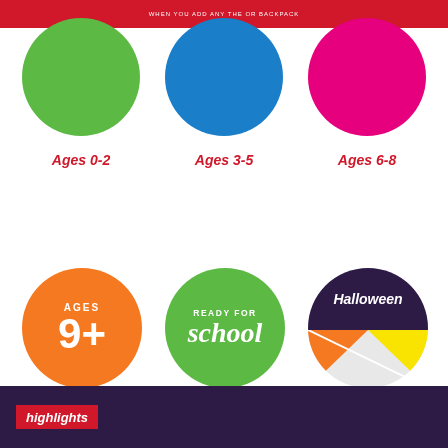WHEN YOU ADD ANY THE OR BACKPACK
[Figure (illustration): Six circular badges/icons for children's book categories: Ages 0-2 (green circle), Ages 3-5 (blue circle), Ages 6-8 (pink/magenta circle), Ages 9+ (orange circle with text), Ready for School (green circle with text), Halloween (dark purple and multicolor circle with text). Top row circles are partially cropped at top.]
Ages 0-2
Ages 3-5
Ages 6-8
Ages 9+
Ready for School
Halloween
Highlights